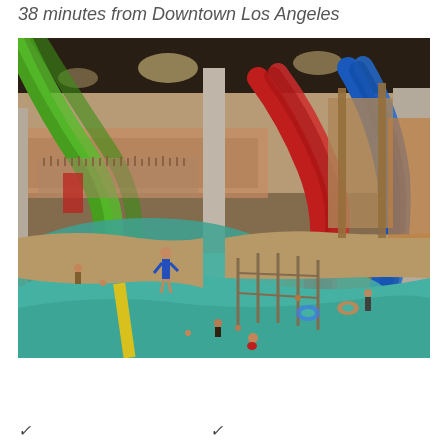38 minutes from Downtown Los Angeles
[Figure (photo): Indoor water park with colorful water slides (green, red, blue) and a lazy river pool with many visitors. Large warehouse-style building interior with bright artificial lighting.]